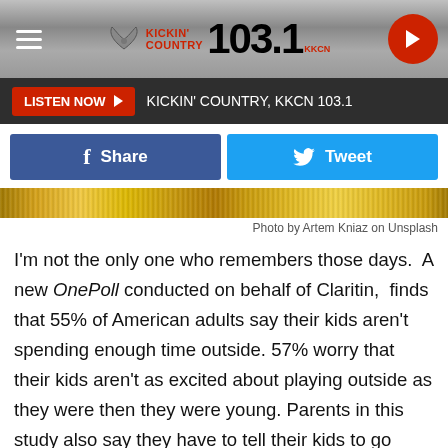Kickin' Country 103.1 KKCN — LISTEN NOW — KICKIN' COUNTRY, KKCN 103.1
[Figure (screenshot): Facebook Share button and Twitter Tweet button]
[Figure (photo): Gold glitter background strip image]
Photo by Artem Kniaz on Unsplash
I'm not the only one who remembers those days.  A new OnePoll conducted on behalf of Claritin,  finds that 55% of American adults say their kids aren't spending enough time outside. 57% worry that their kids aren't as excited about playing outside as they were then they were young. Parents in this study also say they have to tell their kids to go outside and play an average of four or five times a way.